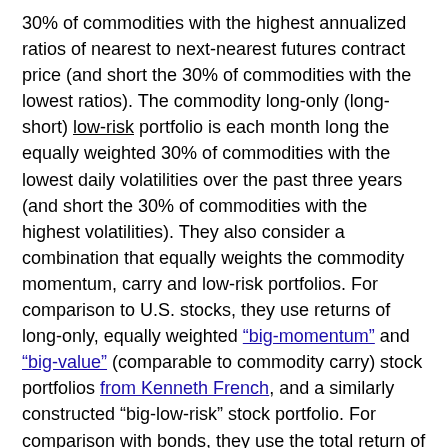30% of commodities with the highest annualized ratios of nearest to next-nearest futures contract price (and short the 30% of commodities with the lowest ratios). The commodity long-only (long-short) low-risk portfolio is each month long the equally weighted 30% of commodities with the lowest daily volatilities over the past three years (and short the 30% of commodities with the highest volatilities). They also consider a combination that equally weights the commodity momentum, carry and low-risk portfolios. For comparison to U.S. stocks, they use returns of long-only, equally weighted "big-momentum" and "big-value" (comparable to commodity carry) stock portfolios from Kenneth French, and a similarly constructed “big-low-risk” stock portfolio. For comparison with bonds, they use the total return of the JP Morgan U.S. government bond index. For all return series and allocation strategies, they ignore trading frictions. Using daily and monthly futures index levels and contract prices for the 24 commodities in the S&P GSCI as available during January 1979 through June 2012, along with...